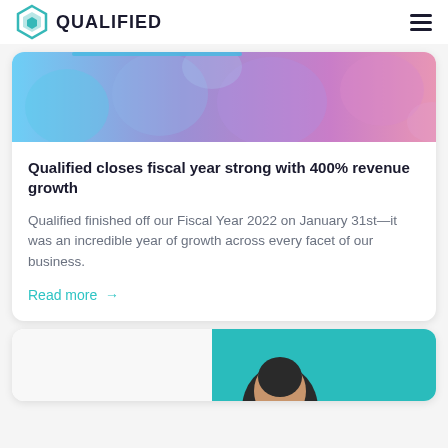QUALIFIED
[Figure (illustration): Colorful abstract gradient banner with blue, purple, and pink hexagonal bubble shapes transitioning from left to right]
Qualified closes fiscal year strong with 400% revenue growth
Qualified finished off our Fiscal Year 2022 on January 31st—it was an incredible year of growth across every facet of our business.
Read more →
[Figure (photo): Partial view of a person's head/portrait against a teal background, bottom of page]